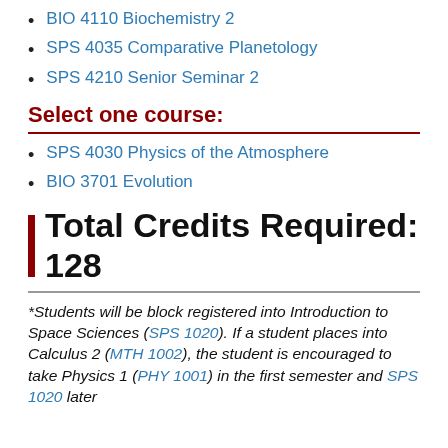BIO 4110 Biochemistry 2
SPS 4035 Comparative Planetology
SPS 4210 Senior Seminar 2
Select one course:
SPS 4030 Physics of the Atmosphere
BIO 3701 Evolution
Total Credits Required: 128
*Students will be block registered into Introduction to Space Sciences (SPS 1020). If a student places into Calculus 2 (MTH 1002), the student is encouraged to take Physics 1 (PHY 1001) in the first semester and SPS 1020 later